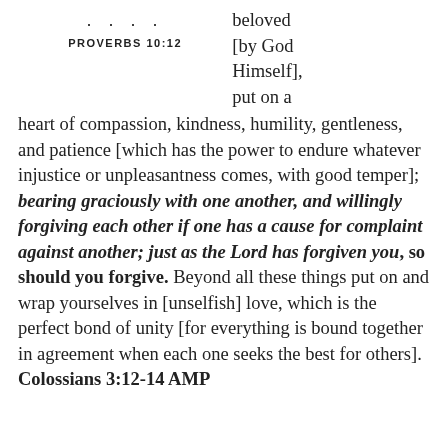. . . .
PROVERBS 10:12
beloved [by God Himself], put on a heart of compassion, kindness, humility, gentleness, and patience [which has the power to endure whatever injustice or unpleasantness comes, with good temper]; bearing graciously with one another, and willingly forgiving each other if one has a cause for complaint against another; just as the Lord has forgiven you, so should you forgive. Beyond all these things put on and wrap yourselves in [unselfish] love, which is the perfect bond of unity [for everything is bound together in agreement when each one seeks the best for others]. Colossians 3:12-14 AMP